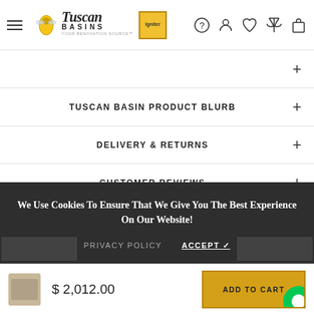[Figure (screenshot): Navigation bar with hamburger menu, Tuscan Basins logo with Igniter badge, and icons for help, user, wishlist, compare, and cart]
TUSCAN BASIN PRODUCT BLURB
DELIVERY & RETURNS
CUSTOMER REVIEWS
We Use Cookies To Ensure That We Give You The Best Experience On Our Website!
PRIVACY POLICY   ACCEPT ✓
Related Products
$ 2,012.00   ADD TO CART